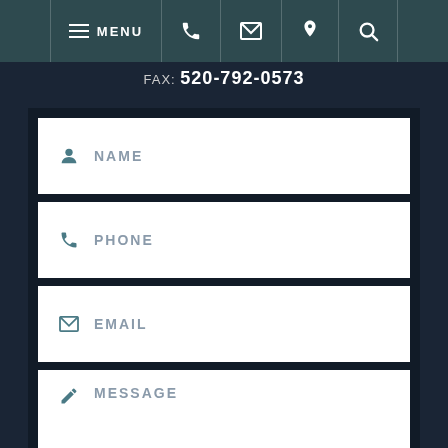MENU (navigation bar with phone, email, location, search icons)
FAX: 520-792-0573
[Figure (screenshot): Contact form with fields: NAME, PHONE, EMAIL, MESSAGE and a Submit Form button]
NAME
PHONE
EMAIL
MESSAGE
Submit Form